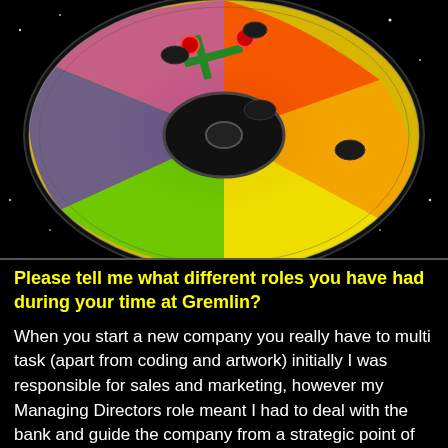[Figure (illustration): A colorful CD/disc with rainbow spectrum reflections and robotic/electronic components on top, set against a black starry background]
Please tell me what different roles you have had during your time at Gremlin?
When you start a new company you really have to multi task (apart from coding and artwork) initially I was responsible for sales and marketing, however my Managing Directors role meant I had to deal with the bank and guide the company from a strategic point of view. As the company grew my role changed to CEO, dealing with investors and banks took up a great deal of time but there were very few days when I